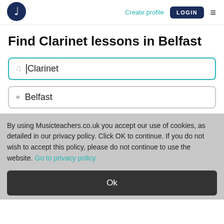[Figure (logo): Musicteachers.co.uk logo — dark navy circle with white headphone/music note icon]
Create profile
LOGIN
Find Clarinet lessons in Belfast
Clarinet
Belfast
By using Musicteachers.co.uk you accept our use of cookies, as detailed in our privacy policy. Click OK to continue. If you do not wish to accept this policy, please do not continue to use the website. Go to privacy policy.
Ok